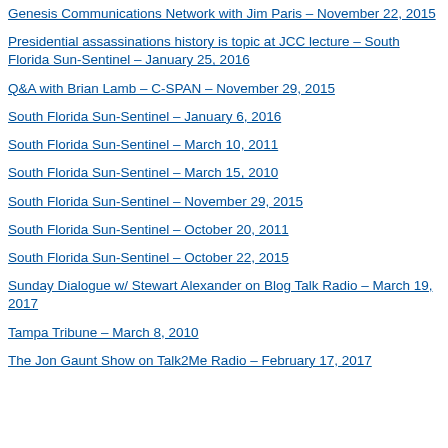Genesis Communications Network with Jim Paris – November 22, 2015
Presidential assassinations history is topic at JCC lecture – South Florida Sun-Sentinel – January 25, 2016
Q&A with Brian Lamb – C-SPAN – November 29, 2015
South Florida Sun-Sentinel – January 6, 2016
South Florida Sun-Sentinel – March 10, 2011
South Florida Sun-Sentinel – March 15, 2010
South Florida Sun-Sentinel – November 29, 2015
South Florida Sun-Sentinel – October 20, 2011
South Florida Sun-Sentinel – October 22, 2015
Sunday Dialogue w/ Stewart Alexander on Blog Talk Radio – March 19, 2017
Tampa Tribune – March 8, 2010
The Jon Gaunt Show on Talk2Me Radio – February 17, 2017